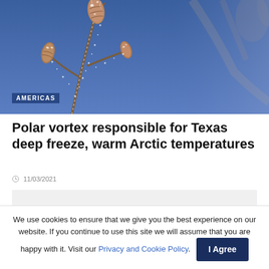[Figure (photo): Close-up photograph of frost-covered plant seed pods and branches against a blue sky background]
AMERICAS
Polar vortex responsible for Texas deep freeze, warm Arctic temperatures
11/03/2021
We use cookies to ensure that we give you the best experience on our website. If you continue to use this site we will assume that you are happy with it. Visit our Privacy and Cookie Policy.